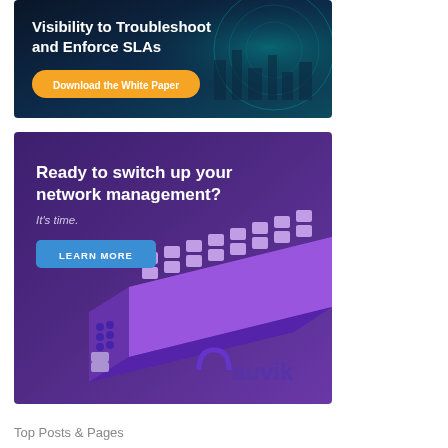[Figure (illustration): Dark navy blue banner advertisement with teal network/city background imagery. Text reads 'Visibility to Troubleshoot and Enforce SLAs' with an orange 'Download the White Paper' call-to-action button.]
[Figure (illustration): Purple banner advertisement for Auvik network management. Text reads 'Ready to switch up your network management? It's time.' with a blue 'LEARN MORE' button. Features a purple network switch device and the Auvik logo.]
Top Posts & Pages